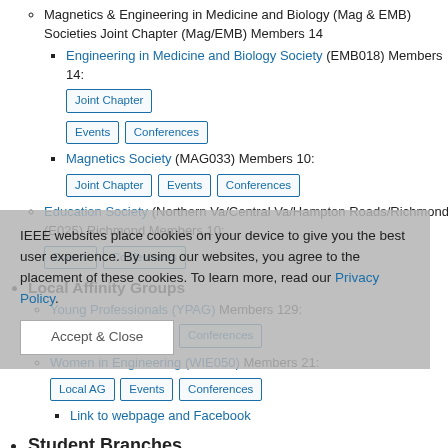Magnetics & Engineering in Medicine and Biology (Mag & EMB) Societies Joint Chapter (Mag/EMB) Members 14
Engineering in Medicine and Biology Society (EMB018) Members 14: Joint Chapter Events Conferences
Magnetics Society (MAG033) Members 10: Joint Chapter Events Conferences
Education Society (Northern Va/Central Va/Hampton Roads/Richmond) (E025) Richmond Members 10: Events Conferences
Local Affinity Groups
Young Professionals (YPAG) Members 129: Local AG Events Conferences
Women in Engineering (WIE050) Members 21: Local AG Events Conferences
Link to webpage and Facebook
Student Branches